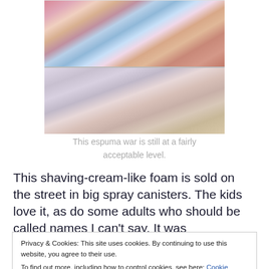[Figure (photo): Crowd of children and adults at a festive outdoor event, covered with foam/espuma spray, smiling and celebrating. Two rows split by a fence or railing.]
This espuma war is still at a fairly acceptable level.
This shaving-cream-like foam is sold on the street in big spray canisters. The kids love it, as do some adults who should be called names I can't say. It was
Privacy & Cookies: This site uses cookies. By continuing to use this website, you agree to their use.
To find out more, including how to control cookies, see here: Cookie Policy
Close and accept